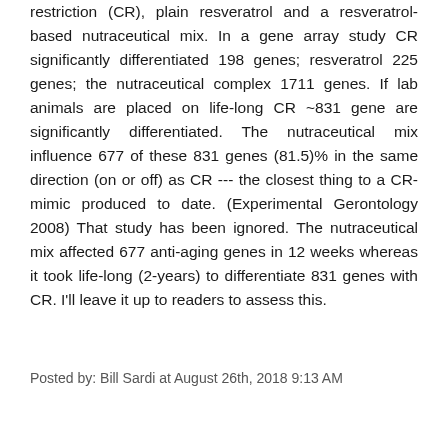restriction (CR), plain resveratrol and a resveratrol-based nutraceutical mix. In a gene array study CR significantly differentiated 198 genes; resveratrol 225 genes; the nutraceutical complex 1711 genes. If lab animals are placed on life-long CR ~831 gene are significantly differentiated. The nutraceutical mix influence 677 of these 831 genes (81.5)% in the same direction (on or off) as CR --- the closest thing to a CR-mimic produced to date. (Experimental Gerontology 2008) That study has been ignored. The nutraceutical mix affected 677 anti-aging genes in 12 weeks whereas it took life-long (2-years) to differentiate 831 genes with CR. I'll leave it up to readers to assess this.
Posted by: Bill Sardi at August 26th, 2018 9:13 AM